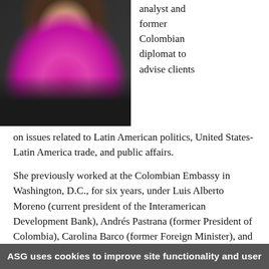[Figure (photo): Headshot photo of a woman wearing a bright magenta/pink scarf and black jacket, with long brown hair, against a dark background.]
analyst and former Colombian diplomat to advise clients on issues related to Latin American politics, United States-Latin America trade, and public affairs.
She previously worked at the Colombian Embassy in Washington, D.C., for six years, under Luis Alberto Moreno (current president of the Interamerican Development Bank), Andrés Pastrana (former President of Colombia), Carolina Barco (former Foreign Minister), and Gabriel Silva (former Defense Minister). During this time, Ms. Jensen was focused on Congressional relations in the effort to ratify the U.S. Colombia Free Trade Agreement, as well as serving as Press Counselor and Spokesperson for the Embassy. Before Washington, she
ASG uses cookies to improve site functionality and user